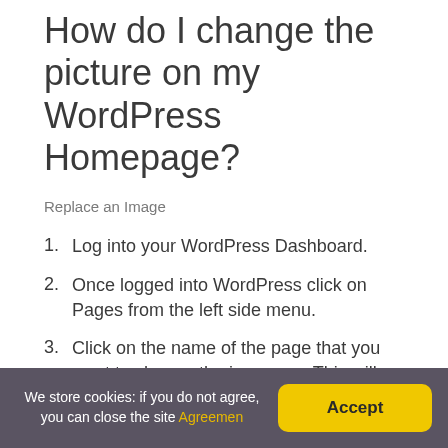How do I change the picture on my WordPress Homepage?
Replace an Image
Log into your WordPress Dashboard.
Once logged into WordPress click on Pages from the left side menu.
Click on the name of the page that you want to change the image on. This will open the Page Editor.
Click on the image you wish to replace.
We store cookies: if you do not agree, you can close the site Agreemen